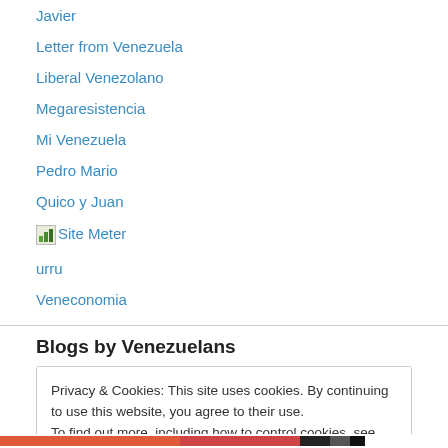Javier
Letter from Venezuela
Liberal Venezolano
Megaresistencia
Mi Venezuela
Pedro Mario
Quico y Juan
[image] Site Meter
urru
Veneconomia
Blogs by Venezuelans
Privacy & Cookies: This site uses cookies. By continuing to use this website, you agree to their use.
To find out more, including how to control cookies, see here: Cookie Policy
Close and accept